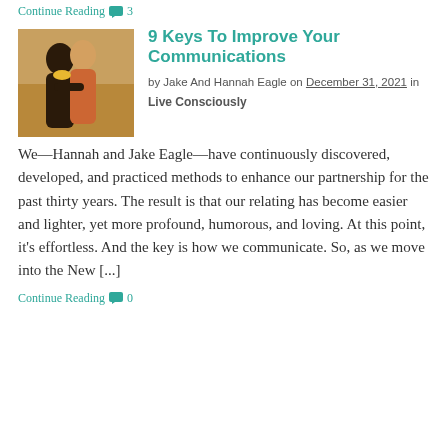Continue Reading 💬 3
9 Keys To Improve Your Communications
by Jake And Hannah Eagle on December 31, 2021 in Live Consciously
[Figure (photo): A couple from behind, embracing outdoors in a field, one wearing a yellow scarf and one wearing an orange/patterned top.]
We—Hannah and Jake Eagle—have continuously discovered, developed, and practiced methods to enhance our partnership for the past thirty years. The result is that our relating has become easier and lighter, yet more profound, humorous, and loving. At this point, it's effortless. And the key is how we communicate. So, as we move into the New [...]
Continue Reading 💬 0